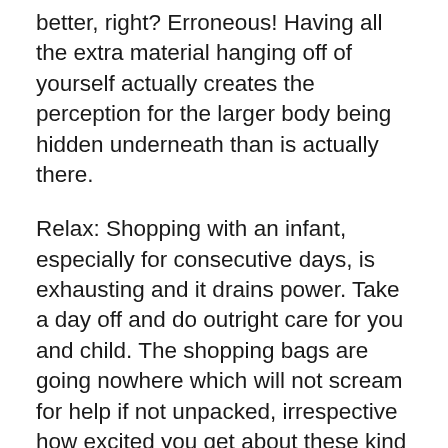better, right? Erroneous! Having all the extra material hanging off of yourself actually creates the perception for the larger body being hidden underneath than is actually there.
Relax: Shopping with an infant, especially for consecutive days, is exhausting and it drains power. Take a day off and do outright care for you and child. The shopping bags are going nowhere which will not scream for help if not unpacked, irrespective how excited you get about these kind of. And yes, take-out is here a 24/7 option, so use it, or make simple sandwiches using things your pantry already created. Forget about the laundry, take a pleasant hot shower when infant naps, and postpone every chore for the next 24 hours.